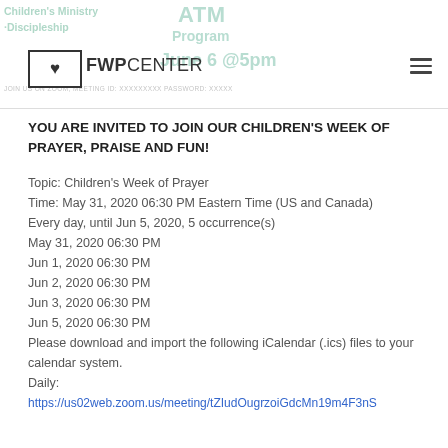FWP CENTER
YOU ARE INVITED TO JOIN OUR CHILDREN'S WEEK OF PRAYER, PRAISE AND FUN!
Topic: Children's Week of Prayer
Time: May 31, 2020 06:30 PM Eastern Time (US and Canada)
Every day, until Jun 5, 2020, 5 occurrence(s)
May 31, 2020 06:30 PM
Jun 1, 2020 06:30 PM
Jun 2, 2020 06:30 PM
Jun 3, 2020 06:30 PM
Jun 5, 2020 06:30 PM
Please download and import the following iCalendar (.ics) files to your calendar system.
Daily:
https://us02web.zoom.us/meeting/tZIudOugrzoiGdcMn19m4F3nS